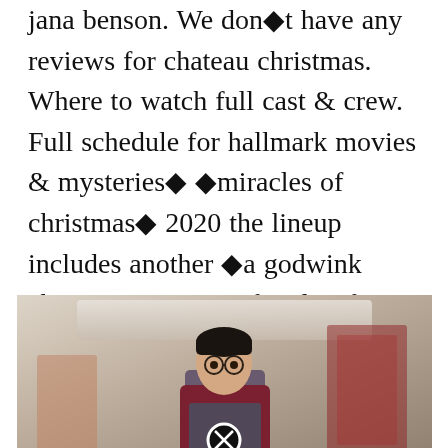jana benson. We don�t have any reviews for chateau christmas. Where to watch full cast & crew. Full schedule for hallmark movies & mysteries� �miracles of christmas� 2020 the lineup includes another �a godwink christmas� movie, familiar faces like andrew walker, and new ones like marisol.
[Figure (photo): A Harry Potter action figure / doll in a box with Christmas-themed decorations visible in the background. A close/cancel button (circled X) is overlaid at the bottom center of the image.]